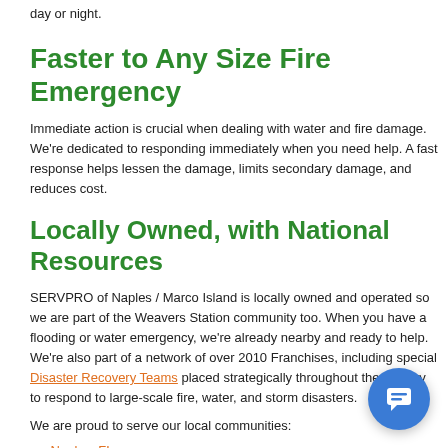day or night.
Faster to Any Size Fire Emergency
Immediate action is crucial when dealing with water and fire damage. We're dedicated to responding immediately when you need help. A fast response helps lessen the damage, limits secondary damage, and reduces cost.
Locally Owned, with National Resources
SERVPRO of Naples / Marco Island is locally owned and operated so we are part of the Weavers Station community too. When you have a flooding or water emergency, we're already nearby and ready to help. We're also part of a network of over 2010 Franchises, including special Disaster Recovery Teams placed strategically throughout the country to respond to large-scale fire, water, and storm disasters.
We are proud to serve our local communities:
Naples, FL